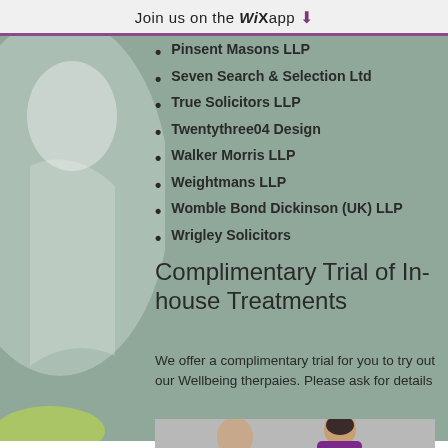Join us on the WiX app ⬇
Pinsent Masons LLP
Seven Search & Selection Ltd
True Solicitors LLP
Twentythree04 Design
Walker Morris LLP
Weightmans LLP
Womble Bond Dickinson (UK) LLP
Wrigley Solicitors
Complimentary Trial of In-house Treatments
We offer a complimentary trial for you to try out our Wellbeing therpaies. Please ask for details
[Figure (photo): Two practitioners in purple scrubs performing a massage or therapy treatment on a person]